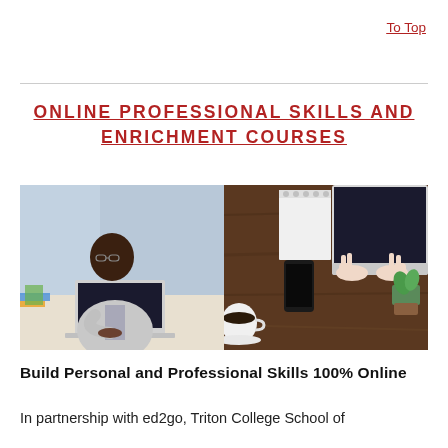To Top
ONLINE PROFESSIONAL SKILLS AND ENRICHMENT COURSES
[Figure (photo): Two side-by-side photos: left shows a man in glasses and suit jacket working on a laptop at a desk; right shows hands typing on a laptop from above, with a notebook, phone, plant, and coffee cup nearby.]
Build Personal and Professional Skills 100% Online
In partnership with ed2go, Triton College School of